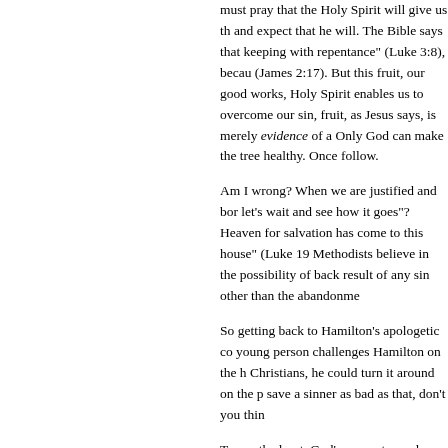must pray that the Holy Spirit will give us th... and expect that he will. The Bible says that... keeping with repentance" (Luke 3:8), beca... (James 2:17). But this fruit, our good works... Holy Spirit enables us to overcome our sin,... fruit, as Jesus says, is merely evidence of a... Only God can make the tree healthy. Once... follow.
Am I wrong? When we are justified and bo... let's wait and see how it goes"? Heaven fo... salvation has come to this house" (Luke 19... Methodists believe in the possibility of back... result of any sin other than the abandonme...
So getting back to Hamilton's apologetic co... young person challenges Hamilton on the h... Christians, he could turn it around on the p... save a sinner as bad as that, don't you thin...
To say the least, God's mercy toward sinne... a defect.
I'll deal with the rest of Chapter 1 later.
1. C.S. Lewis, "The Screwtape Letters" in Th... Signature Classics (New York: HarperOne,...
2. ...